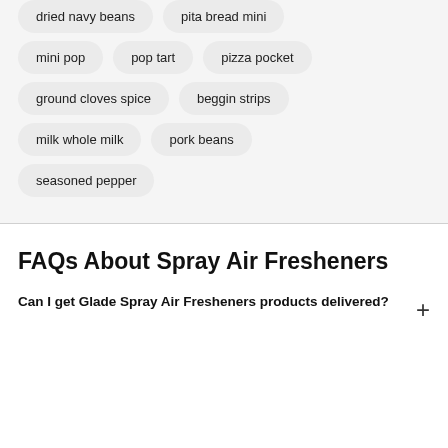dried navy beans
pita bread mini
mini pop
pop tart
pizza pocket
ground cloves spice
beggin strips
milk whole milk
pork beans
seasoned pepper
FAQs About Spray Air Fresheners
Can I get Glade Spray Air Fresheners products delivered?